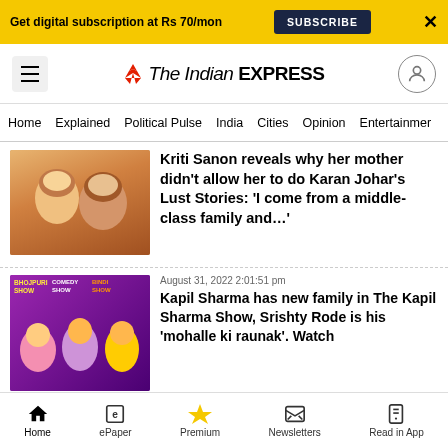Get digital subscription at Rs 70/mon SUBSCRIBE X
[Figure (logo): The Indian Express logo with red flame icon]
Home | Explained | Political Pulse | India | Cities | Opinion | Entertainment
Kriti Sanon reveals why her mother didn't allow her to do Karan Johar's Lust Stories: 'I come from a middle-class family and…'
August 31, 2022 2:01:51 pm
Kapil Sharma has new family in The Kapil Sharma Show, Srishty Rode is his 'mohalle ki raunak'. Watch
August 31, 2022 1:54:30 pm
Amala Paul files harassment case against estranged friend and…
Home | ePaper | Premium | Newsletters | Read in App